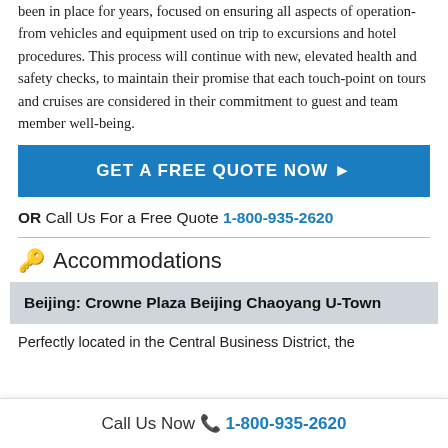been in place for years, focused on ensuring all aspects of operation- from vehicles and equipment used on trip to excursions and hotel procedures. This process will continue with new, elevated health and safety checks, to maintain their promise that each touch-point on tours and cruises are considered in their commitment to guest and team member well-being.
GET A FREE QUOTE NOW ▶
OR Call Us For a Free Quote 1-800-935-2620
🔑 Accommodations
Beijing: Crowne Plaza Beijing Chaoyang U-Town
Perfectly located in the Central Business District, the
Call Us Now 📞 1-800-935-2620